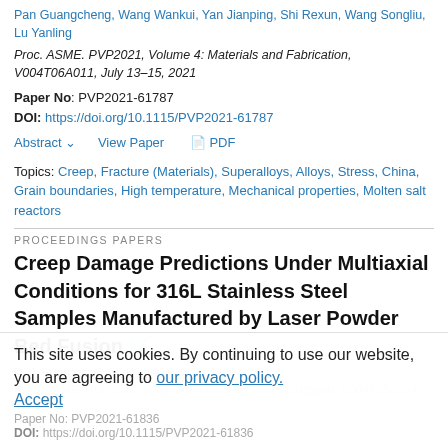Pan Guangcheng, Wang Wankui, Yan Jianping, Shi Rexun, Wang Songliu, Lu Yanling
Proc. ASME. PVP2021, Volume 4: Materials and Fabrication, V004T06A011, July 13–15, 2021
Paper No: PVP2021-61787
DOI: https://doi.org/10.1115/PVP2021-61787
Abstract ∨   View Paper   🖹 PDF
Topics: Creep, Fracture (Materials), Superalloys, Alloys, Stress, China, Grain boundaries, High temperature, Mechanical properties, Molten salt reactors
PROCEEDINGS PAPERS
Creep Damage Predictions Under Multiaxial Conditions for 316L Stainless Steel Samples Manufactured by Laser Powder Bed Fusion 🛒
D. J. Burridge, C. M. Davies
This site uses cookies. By continuing to use our website, you are agreeing to our privacy policy. Accept